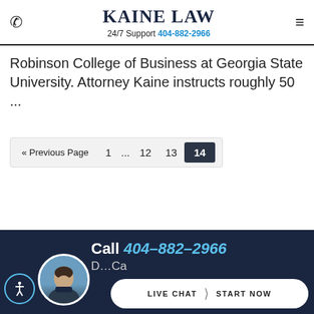KAINE LAW 24/7 Support 404-882-2966
Robinson College of Business at Georgia State University. Attorney Kaine instructs roughly 50 ...
« Previous Page  1  ...  12  13  14
Call 404-882-2966
LIVE CHAT  >  START NOW